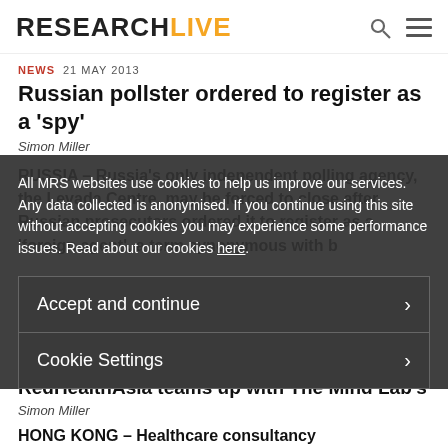RESEARCHLIVE
NEWS  21 MAY 2013
Russian pollster ordered to register as a 'spy'
Simon Miller
RUSSIA – Russia's only independent polling agency, the Levada Centre, may be forced to close after Russian prosecutors ordered it to register as a 'foreign agent', a term synonymous with b…
All MRS websites use cookies to help us improve our services. Any data collected is anonymised. If you continue using this site without accepting cookies you may experience some performance issues. Read about our cookies here.
Accept and continue
Cookie Settings
NEWS  21 MAY 2013
RedHealthAsia teams up with The Mind Lab's
Simon Miller
HONG KONG – Healthcare consultancy RedHealthAsia has teamed up with